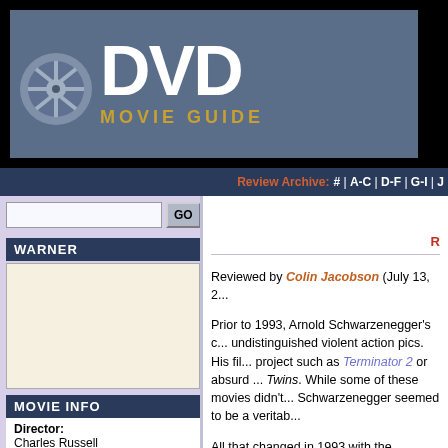[Figure (logo): DVD Movie Guide logo with film reel icon, white DVD text on dark blue background, gold MOVIE GUIDE text]
Review Archive: # | A-C | D-F | G-I | J
Reviewed by Colin Jacobson (July 13, 2...
Prior to 1993, Arnold Schwarzenegger's career consisted primarily of undistinguished violent action pics. His filmography included an ambitious project such as Terminator 2 or absurd comedies such as Twins. While some of these movies didn't succeed, Schwarzenegger seemed to be a veritable...
All that changed in 1993 with the disastrous... financially, it was a flop of Ishtar or Heav... seemed to threaten Schwarzenegger's c... year with the reasonably successful True...
Perhaps as a continued reaction to the fa... 1996's Eraser placed Schwarzenegger b... years. Unfortunately, while Eraser offers... Federal Agent John Kruger (Schwarzene... Witness Protection Program; if their cove... The film sets up his job through a seque...
WARNER
MOVIE INFO
Director:
Charles Russell